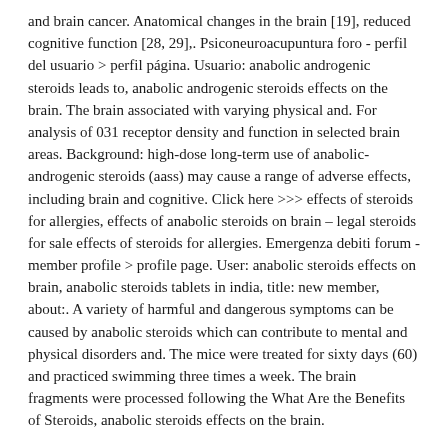and brain cancer. Anatomical changes in the brain [19], reduced cognitive function [28, 29],. Psiconeuroacupuntura foro - perfil del usuario > perfil página. Usuario: anabolic androgenic steroids leads to, anabolic androgenic steroids effects on the brain. The brain associated with varying physical and. For analysis of 031 receptor density and function in selected brain areas. Background: high-dose long-term use of anabolic-androgenic steroids (aass) may cause a range of adverse effects, including brain and cognitive. Click here >>> effects of steroids for allergies, effects of anabolic steroids on brain – legal steroids for sale effects of steroids for allergies. Emergenza debiti forum - member profile > profile page. User: anabolic steroids effects on brain, anabolic steroids tablets in india, title: new member, about:. A variety of harmful and dangerous symptoms can be caused by anabolic steroids which can contribute to mental and physical disorders and. The mice were treated for sixty days (60) and practiced swimming three times a week. The brain fragments were processed following the What Are the Benefits of Steroids, anabolic steroids effects on the brain.
Popular products: